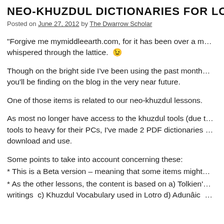Neo-Khuzdul Dictionaries for Lotr…
Posted on June 27, 2012 by The Dwarrow Scholar
“Forgive me mymiddleearth.com, for it has been over a m… whispered through the lattice. 😉
Though on the bright side I’ve been using the past month… you’ll be finding on the blog in the very near future.
One of those items is related to our neo-khuzdul lessons.
As most no longer have access to the khuzdul tools (due t… tools to heavy for their PCs, I’ve made 2 PDF dictionaries … download and use.
Some points to take into account concerning these:
* This is a Beta version – meaning that some items might…
* As the other lessons, the content is based on a) Tolkien’… writings  c) Khuzdul Vocabulary used in Lotro d) Adunâic …